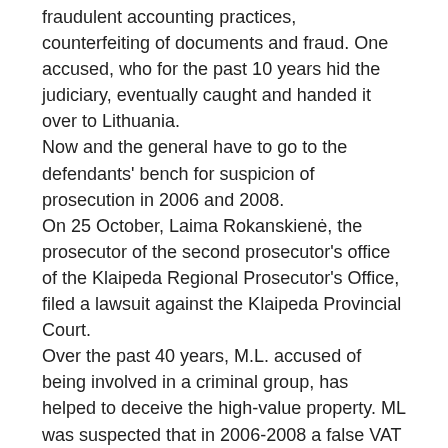fraudulent accounting practices, counterfeiting of documents and fraud. One accused, who for the past 10 years hid the judiciary, eventually caught and handed it over to Lithuania.
Now and the general have to go to the defendants' bench for suspicion of prosecution in 2006 and 2008.
On 25 October, Laima Rokanskienė, the prosecutor of the second prosecutor's office of the Klaipeda Regional Prosecutor's Office, filed a lawsuit against the Klaipeda Provincial Court.
Over the past 40 years, M.L. accused of being involved in a criminal group, has helped to deceive the high-value property. ML was suspected that in 2006-2008 a false VAT invoice was introduced for the sale and purchase of goods, in agreement with a convicted group and another person to assist him in the fraud of VAT payments and these documents to the nature of the crime unidentified directors of other companies. According to the VAT invoices, the goods were purchased from companies registered in Lithuania, but they were actually purchased from companies in the Republic of Latvia.